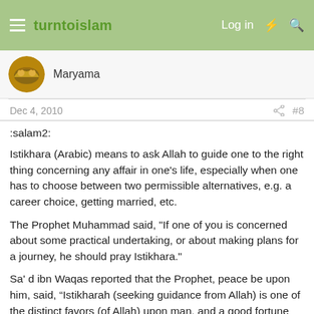turntoislam  Log in
Maryama
Dec 4, 2010  #8
:salam2:
Istikhara (Arabic) means to ask Allah to guide one to the right thing concerning any affair in one's life, especially when one has to choose between two permissible alternatives, e.g. a career choice, getting married, etc.
The Prophet Muhammad said, "If one of you is concerned about some practical undertaking, or about making plans for a journey, he should pray Istikhara."
Sa' d ibn Waqas reported that the Prophet, peace be upon him, said, “Istikharah (seeking guidance from Allah) is one of the distinct favors (of Allah) upon man, and a good fortune for the son of Adam is to be pleased with the judgment of Allah. And a